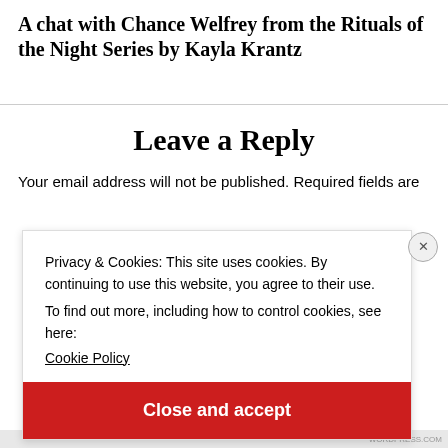A chat with Chance Welfrey from the Rituals of the Night Series by Kayla Krantz
Leave a Reply
Your email address will not be published. Required fields are
Privacy & Cookies: This site uses cookies. By continuing to use this website, you agree to their use.
To find out more, including how to control cookies, see here:
Cookie Policy
Close and accept